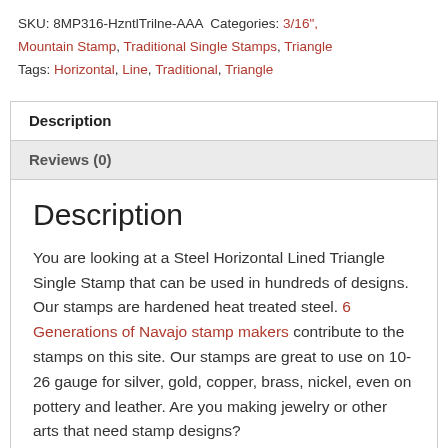SKU: 8MP316-HzntlTrilne-AAA Categories: 3/16", Mountain Stamp, Traditional Single Stamps, Triangle
Tags: Horizontal, Line, Traditional, Triangle
Description
Reviews (0)
Description
You are looking at a Steel Horizontal Lined Triangle Single Stamp that can be used in hundreds of designs. Our stamps are hardened heat treated steel. 6 Generations of Navajo stamp makers contribute to the stamps on this site. Our stamps are great to use on 10-26 gauge for silver, gold, copper, brass, nickel, even on pottery and leather. Are you making jewelry or other arts that need stamp designs?